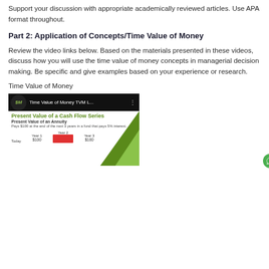Support your discussion with appropriate academically reviewed articles. Use APA format throughout.
Part 2: Application of Concepts/Time Value of Money
Review the video links below. Based on the materials presented in these videos, discuss how you will use the time value of money concepts in managerial decision making. Be specific and give examples based on your experience or research.
Time Value of Money
[Figure (screenshot): YouTube video thumbnail for 'Time Value of Money TVM L...' showing a slide titled 'Present Value of a Cash Flow Series' with subtitle 'Present Value of an Annuity'. The slide shows a timeline with Today, Year 1, Year 2, Year 3 and $100 payments. Green triangles appear on the right. A chat button is visible in the bottom right corner.]